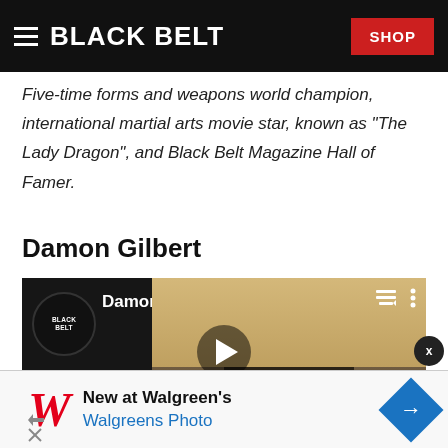BLACK BELT | SHOP
Five-time forms and weapons world champion, international martial arts movie star, known as "The Lady Dragon", and Black Belt Magazine Hall of Famer.
Damon Gilbert
[Figure (screenshot): YouTube-style video player thumbnail showing Damon Gilbert wearing a police/security cap with badge emblem. Black Belt logo circle on left side. Play button in center. Menu and dots icons top right.]
[Figure (infographic): Advertisement banner: New at Walgreen's - Walgreens Photo, with red cursive W logo and blue diamond arrow icon. Small ad disclosure icons bottom left. X close button.]